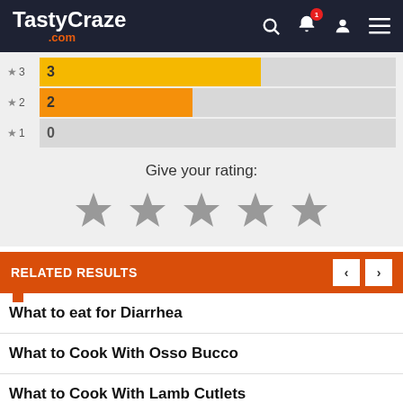TastyCraze.com
[Figure (bar-chart): Star ratings]
Give your rating:
[Figure (other): Five gray star icons for user rating input]
RELATED RESULTS
What to eat for Diarrhea
What to Cook With Osso Bucco
What to Cook With Lamb Cutlets
How to Cook Okra for Kidney Problems